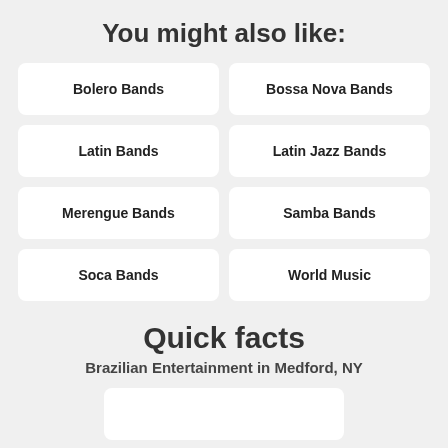You might also like:
Bolero Bands
Bossa Nova Bands
Latin Bands
Latin Jazz Bands
Merengue Bands
Samba Bands
Soca Bands
World Music
Quick facts
Brazilian Entertainment in Medford, NY
[Figure (map): Partial map view at bottom of page]